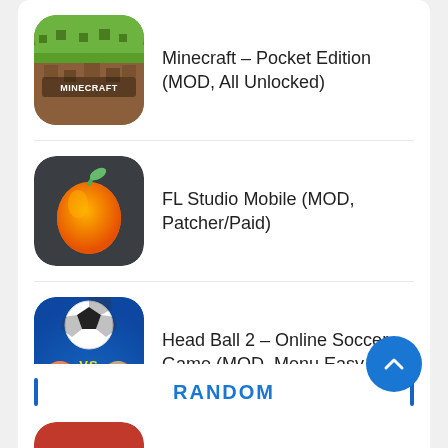Minecraft – Pocket Edition (MOD, All Unlocked)
FL Studio Mobile (MOD, Patcher/Paid)
Head Ball 2 – Online Soccer Game (MOD, Menu Easy Win)
RANDOM
Remini (Pro/Premium Unlocked)